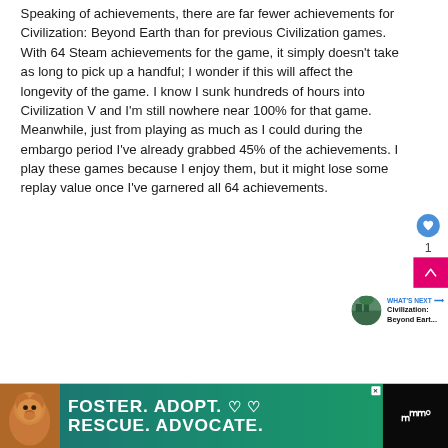Speaking of achievements, there are far fewer achievements for Civilization: Beyond Earth than for previous Civilization games. With 64 Steam achievements for the game, it simply doesn't take as long to pick up a handful; I wonder if this will affect the longevity of the game. I know I sunk hundreds of hours into Civilization V and I'm still nowhere near 100% for that game. Meanwhile, just from playing as much as I could during the embargo period I've already grabbed 45% of the achievements. I play these games because I enjoy them, but it might lose some replay value once I've garnered all 64 achievements.
[Figure (screenshot): UI overlay elements: heart/like button (blue circle with heart icon), like count '1', pink scroll-to-top button with up arrow, 'WHAT'S NEXT' label with arrow, Civilization: Beyond Earth thumbnail and title text]
[Figure (infographic): Advertisement banner at bottom: dark background with dog photo, text 'FOSTER. ADOPT. heart symbols / RESCUE. ADVOCATE.' on teal/green background, website logo on right]